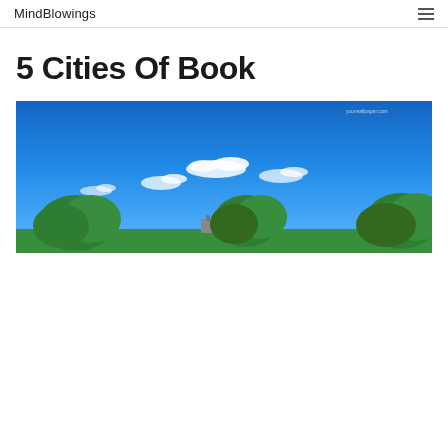MindBlowings
5 Cities Of Book
[Figure (photo): Panoramic photo of a city skyline with green trees in the foreground under a deep blue sky with scattered white clouds. Watermark text 'yourwallpaper.com' visible in top right corner.]